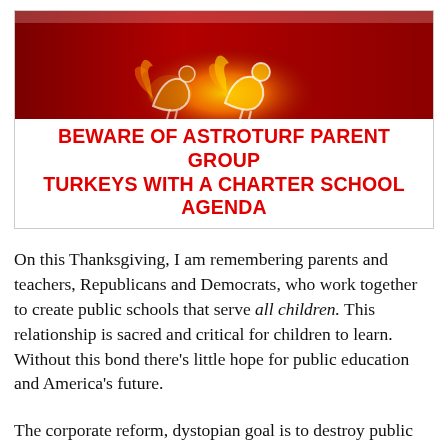[Figure (illustration): Stylized illustration of turkey figures with glowing outline on a dark red/orange background, used as decorative image for article about 'astroturf parent group turkeys with a charter school agenda']
BEWARE OF ASTROTURF PARENT GROUP TURKEYS WITH A CHARTER SCHOOL AGENDA
On this Thanksgiving, I am remembering parents and teachers, Republicans and Democrats, who work together to create public schools that serve all children. This relationship is sacred and critical for children to learn. Without this bond there's little hope for public education and America's future.
The corporate reform, dystopian goal is to destroy public education for a privatized system. This will mean the end of democratic public ownership of public schools. Schools will be owned and marketed by outsiders who collect tax dollars for their own pursuit of profit on the backs of America's students.